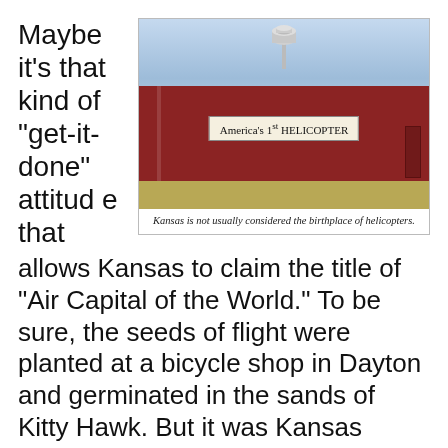Maybe it’s that kind of “get-it-done” attitude that
[Figure (photo): Red barn with a sign reading "America’s 1st HELICOPTER" and a water tower visible above, set against a blue sky with dry grass in front.]
Kansas is not usually considered the birthplace of helicopters.
allows Kansas to claim the title of “Air Capital of the World.” To be sure, the seeds of flight were planted at a bicycle shop in Dayton and germinated in the sands of Kitty Hawk. But it was Kansas where general aviation set its roots deep, cultivated by the likes of Clyde